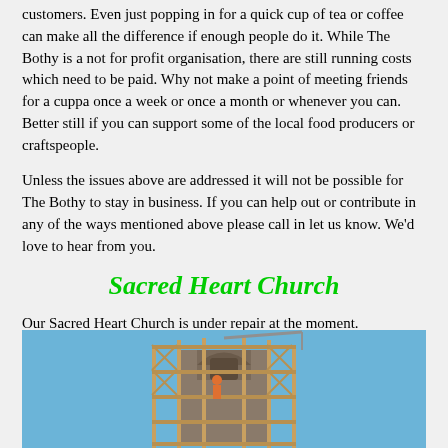customers. Even just popping in for a quick cup of tea or coffee can make all the difference if enough people do it. While The Bothy is a not for profit organisation, there are still running costs which need to be paid. Why not make a point of meeting friends for a cuppa once a week or once a month or whenever you can. Better still if you can support some of the local food producers or craftspeople.
Unless the issues above are addressed it will not be possible for The Bothy to stay in business. If you can help out or contribute in any of the ways mentioned above please call in let us know. We'd love to hear from you.
Sacred Heart Church
Our Sacred Heart Church is under repair at the moment. Scaffolding has been erected to repair leak in Gallery, Bell & Bell Tower and Pointing. Sorry for any inconvenience caused.
[Figure (photo): Photograph of a church bell tower with scaffolding erected around it for repairs, against a blue sky background.]